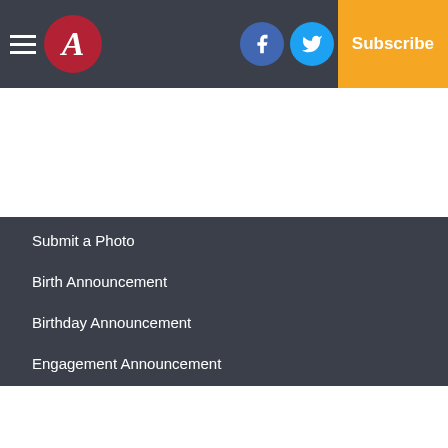Navigation bar with hamburger menu, A logo, Facebook, Twitter, Email icons, Log In, Subscribe
Submit a Photo
Birth Announcement
Birthday Announcement
Engagement Announcement
Wedding Announcement
Copyright
© 2022, The Atmore Advance